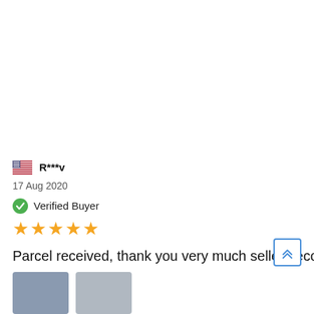R***v
17 Aug 2020
Verified Buyer
★★★★★
Parcel received, thank you very much seller, recommend